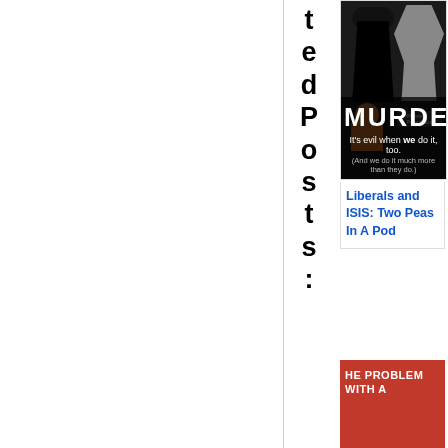tedPosts:
[Figure (photo): Composite image showing ISIS militant in black next to a woman, with text overlay reading MURDER It's evil when we do it, too. (And we do it much more than they do.)]
Liberals and ISIS: Two Peas In A Pod
[Figure (photo): Partial red banner image with text THE PROBLEM WITH A...]